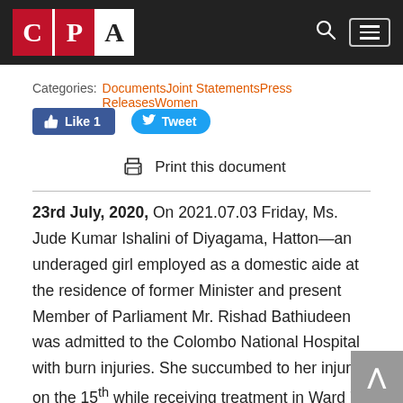CPA
Categories: DocumentsJoint StatementsPress ReleasesWomen
[Figure (other): Facebook Like button showing 'Like 1' and Twitter Tweet button]
Print this document
23rd July, 2020, On 2021.07.03 Friday, Ms. Jude Kumar Ishalini of Diyagama, Hatton—an underaged girl employed as a domestic aide at the residence of former Minister and present Member of Parliament Mr. Rishad Bathiudeen was admitted to the Colombo National Hospital with burn injuries. She succumbed to her injuries on the 15th while receiving treatment in Ward 73 of the Intensive Care Unit 2.